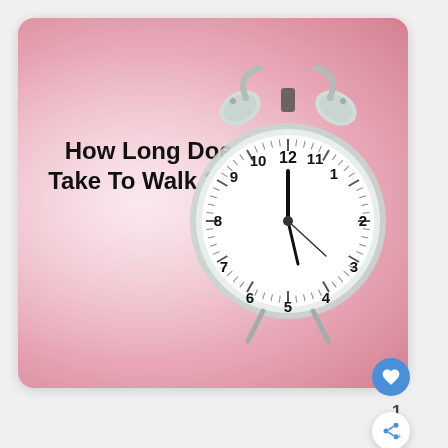[Figure (illustration): A pink-background card featuring a white twin-bell alarm clock on the right side. The clock face shows approximately 12:58. On the left side bold black text reads 'How Long Does It Take To Walk 3 Miles'. There is a blue circular like button with a heart icon in the lower right corner of the card, a count of '1', and a share button below.]
How Long Does It Take To Walk 3 Miles